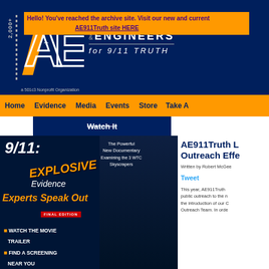Hello! You've reached the archive site. Visit our new and current AE911Truth site HERE
[Figure (logo): Architects & Engineers for 9/11 Truth logo with large stylized A&E letters on dark blue background, '2,000+' text on side, 'a 501c3 Nonprofit Organization' text]
Home | Evidence | Media | Events | Store | Take A
[Figure (other): Watch It button/link on dark blue background with strikethrough text]
[Figure (photo): 9/11: Explosive Evidence - Experts Speak Out documentary movie panel with orange text, dark blue background, building images. Watch the Movie Trailer, Find a Screening Near You, Get the DVD links listed.]
AE911Truth L Outreach Effe
Written by Robert McGee
Tweet
This year, AE911Truth public outreach to the n the introduction of our C Outreach Team. In orde